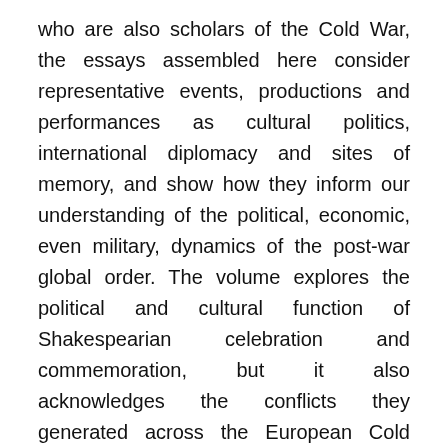who are also scholars of the Cold War, the essays assembled here consider representative events, productions and performances as cultural politics, international diplomacy and sites of memory, and show how they inform our understanding of the political, economic, even military, dynamics of the post-war global order. The volume explores the political and cultural function of Shakespearian celebration and commemoration, but it also acknowledges the conflicts they generated across the European Cold War ‘theatre’, examining the impact of Cold War politics on Shakespearian performance, criticism and scholarship. Drawing on archival material, and presenting its sources both in their original language and in translation, it offers historically and theoretically nuanced accounts of Shakespeare’s international significance in the